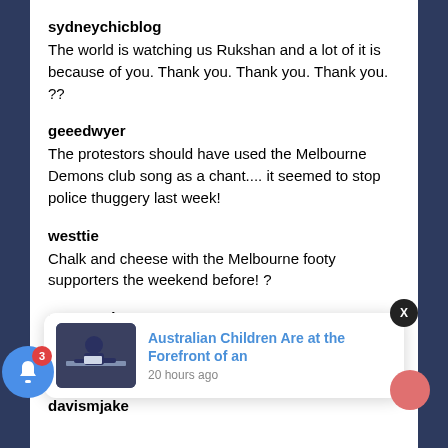sydneychicblog
The world is watching us Rukshan and a lot of it is because of you. Thank you. Thank you. Thank you. ??
geeedwyer
The protestors should have used the Melbourne Demons club song as a chant.... it seemed to stop police thuggery last week!
westtie
Chalk and cheese with the Melbourne footy supporters the weekend before! ?
rose.marianne_
Those poli... watch. T...
davismjake
[Figure (screenshot): Notification popup showing 'Australian Children Are at the Forefront of an' with a thumbnail image of a person at a desk, timestamped '20 hours ago'. A blue bell icon with badge '3' and a close button X are also visible.]